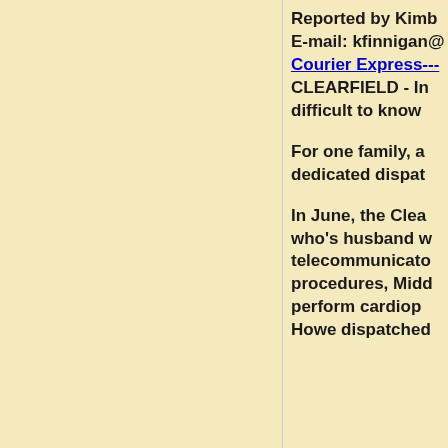Reported by Kimb
E-mail: kfinnigan@
Courier Express---
CLEARFIELD - In difficult to know

For one family, a dedicated dispat

In June, the Clea who's husband w telecommunicato procedures, Midd perform cardiop Howe dispatched